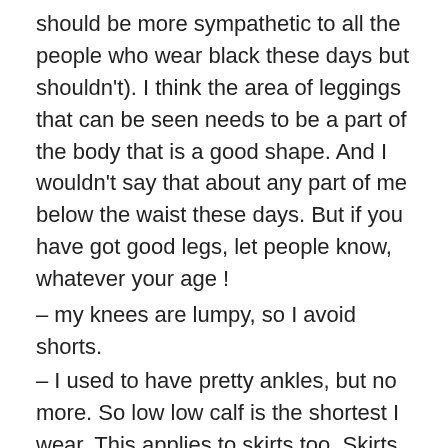should be more sympathetic to all the people who wear black these days but shouldn't). I think the area of leggings that can be seen needs to be a part of the body that is a good shape. And I wouldn't say that about any part of me below the waist these days. But if you have got good legs, let people know, whatever your age !
– my knees are lumpy, so I avoid shorts.
– I used to have pretty ankles, but no more. So low low calf is the shortest I wear. This applies to skirts too. Skirts don't fit well into my practical lifestyle anyway, but that's another reason why I don't wear them often.
– pockets : inseam pockets tend to gape on my curved hip silhouette. The curved shape of jeans pockets signals 'look here' to somewhere I'm trying to distract the onlooker from. . . Vertically angled pockets are best at slimming my curvy high hip lumps. (see pear shape post).